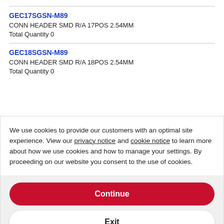GEC17SGSN-M89
CONN HEADER SMD R/A 17POS 2.54MM
Total Quantity 0
GEC18SGSN-M89
CONN HEADER SMD R/A 18POS 2.54MM
Total Quantity 0
We use cookies to provide our customers with an optimal site experience. View our privacy notice and cookie notice to learn more about how we use cookies and how to manage your settings. By proceeding on our website you consent to the use of cookies.
Continue
Exit
Privacy Notice
CONN HEADER SMD R/A 21POS 2.54MM